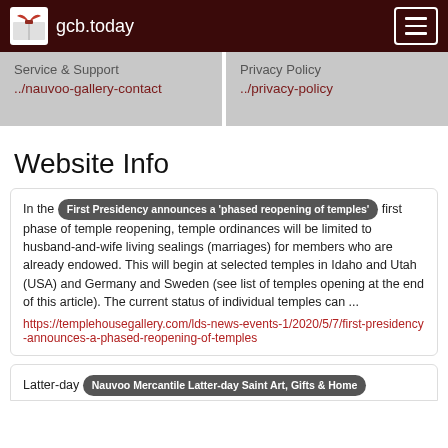gcb.today
Service & Support
../nauvoo-gallery-contact
Privacy Policy
../privacy-policy
Website Info
In the [First Presidency announces a 'phased reopening of temples'] first phase of temple reopening, temple ordinances will be limited to husband-and-wife living sealings (marriages) for members who are already endowed. This will begin at selected temples in Idaho and Utah (USA) and Germany and Sweden (see list of temples opening at the end of this article). The current status of individual temples can ...
https://templehousegallery.com/lds-news-events-1/2020/5/7/first-presidency-announces-a-phased-reopening-of-temples
Latter-day [Nauvoo Mercantile Latter-day Saint Art, Gifts & Home]